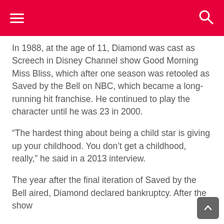In 1988, at the age of 11, Diamond was cast as Screech in Disney Channel show Good Morning Miss Bliss, which after one season was retooled as Saved by the Bell on NBC, which became a long-running hit franchise. He continued to play the character until he was 23 in 2000.
“The hardest thing about being a child star is giving up your childhood. You don’t get a childhood, really,” he said in a 2013 interview.
The year after the final iteration of Saved by the Bell aired, Diamond declared bankruptcy. After the show